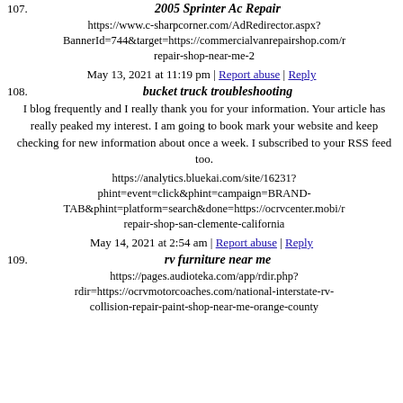107. 2005 Sprinter Ac Repair
https://www.c-sharpcorner.com/AdRedirector.aspx?BannerId=744&target=https://commercialvanrepairshop.com/r repair-shop-near-me-2
May 13, 2021 at 11:19 pm | Report abuse | Reply
108. bucket truck troubleshooting
I blog frequently and I really thank you for your information. Your article has really peaked my interest. I am going to book mark your website and keep checking for new information about once a week. I subscribed to your RSS feed too.
https://analytics.bluekai.com/site/16231?phint=event=click&phint=campaign=BRAND-TAB&phint=platform=search&done=https://ocrvcenter.mobi/r repair-shop-san-clemente-california
May 14, 2021 at 2:54 am | Report abuse | Reply
109. rv furniture near me
https://pages.audioteka.com/app/rdir.php?rdir=https://ocrvmotorcoaches.com/national-interstate-rv-collision-repair-paint-shop-near-me-orange-county